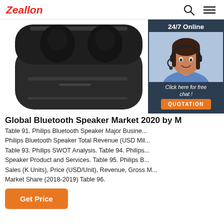Zeallon
[Figure (photo): Product photo of a black Bluetooth earbuds charging case, open lid, showing two earbud slots, photographed against white background.]
[Figure (photo): 24/7 Online customer service chat widget showing a smiling woman wearing a headset with 'Click here for free chat!' text and a QUOTATION button.]
Global Bluetooth Speaker Market 2020 by M
Table 91. Philips Bluetooth Speaker Major Busine... Philips Bluetooth Speaker Total Revenue (USD Mil... Table 93. Philips SWOT Analysis. Table 94. Philips... Speaker Product and Services. Table 95. Philips B... Sales (K Units), Price (USD/Unit), Revenue, Gross M... Market Share (2018-2019) Table 96.
Get Price